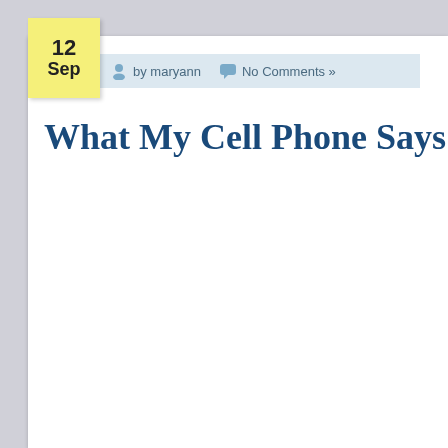12 Sep
by maryann   No Comments »
What My Cell Phone Says Abou